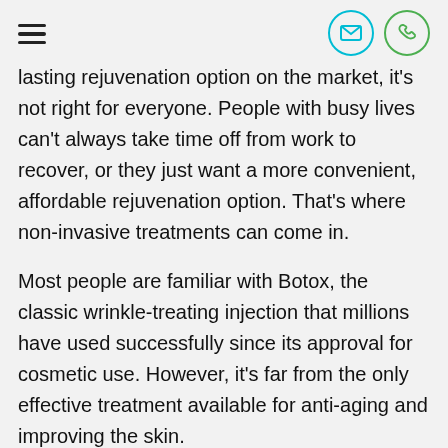lasting rejuvenation option on the market, it's not right for everyone. People with busy lives can't always take time off from work to recover, or they just want a more convenient, affordable rejuvenation option. That's where non-invasive treatments can come in.
Most people are familiar with Botox, the classic wrinkle-treating injection that millions have used successfully since its approval for cosmetic use. However, it's far from the only effective treatment available for anti-aging and improving the skin.